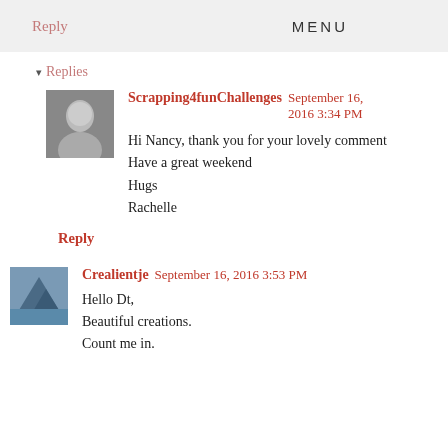Reply   MENU
▾ Replies
Scrapping4funChallenges   September 16, 2016 3:34 PM
Hi Nancy, thank you for your lovely comment
Have a great weekend
Hugs
Rachelle
Reply
Crealientje   September 16, 2016 3:53 PM
Hello Dt,
Beautiful creations.
Count me in.